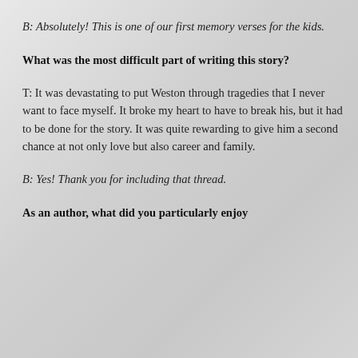B: Absolutely! This is one of our first memory verses for the kids.
What was the most difficult part of writing this story?
T: It was devastating to put Weston through tragedies that I never want to face myself. It broke my heart to have to break his, but it had to be done for the story. It was quite rewarding to give him a second chance at not only love but also career and family.
B: Yes! Thank you for including that thread.
As an author, what did you particularly enjoy about writing this story?